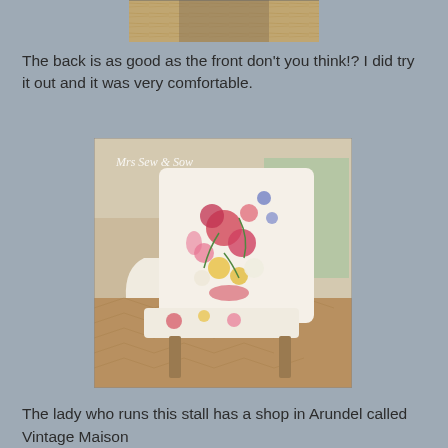[Figure (photo): Partial view of a floral upholstered chair from above/behind, cropped at the top of the page]
The back is as good as the front don't you think!?  I did try it out and it was very comfortable.
[Figure (photo): A floral upholstered armchair viewed from the side/back showing intricate flower pattern fabric on cream background, with 'Mrs Sew & Sow' watermark, displayed in what appears to be a vintage market stall]
The lady who runs this stall has a shop in Arundel called Vintage Maison